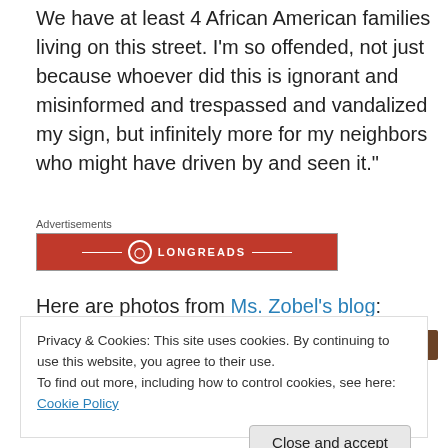We have at least 4 African American families living on this street. I'm so offended, not just because whoever did this is ignorant and misinformed and trespassed and vandalized my sign, but infinitely more for my neighbors who might have driven by and seen it."
[Figure (other): Longreads advertisement banner in red with Longreads logo and name]
Here are photos from Ms. Zobel's blog:
[Figure (photo): Brown/dark colored photo strip at top of image gallery]
Privacy & Cookies: This site uses cookies. By continuing to use this website, you agree to their use.
To find out more, including how to control cookies, see here: Cookie Policy
Close and accept